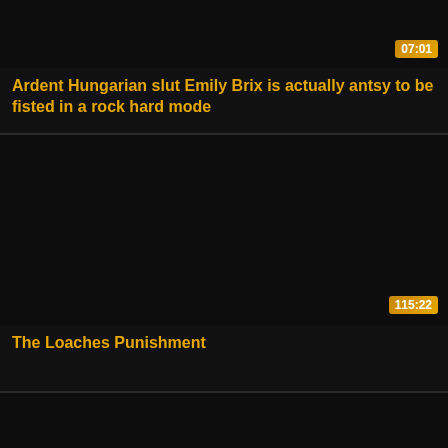[Figure (screenshot): Video thumbnail - dark/black image for first video]
07:01
Ardent Hungarian slut Emily Brix is actually antsy to be fisted in a rock hard mode
[Figure (screenshot): Video thumbnail - dark/black image for second video]
115:22
The Loaches Punishment
[Figure (screenshot): Video thumbnail - dark/black image for third video (partially visible)]